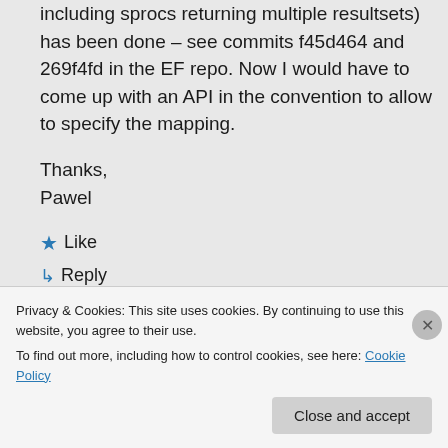including sprocs returning multiple resultsets) has been done – see commits f45d464 and 269f4fd in the EF repo. Now I would have to come up with an API in the convention to allow to specify the mapping.
Thanks,
Pawel
★ Like
↳ Reply
Privacy & Cookies: This site uses cookies. By continuing to use this website, you agree to their use.
To find out more, including how to control cookies, see here: Cookie Policy